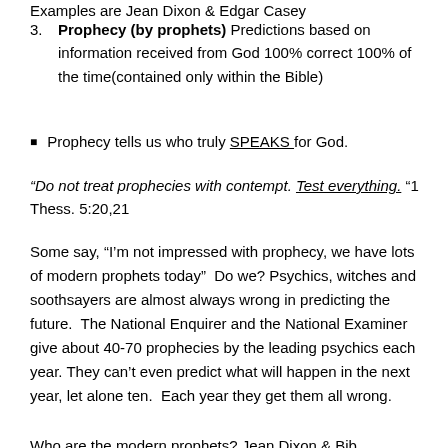Examples are Jean Dixon & Edgar Casey
3. Prophecy (by prophets) Predictions based on information received from God 100% correct 100% of the time(contained only within the Bible)
Prophecy tells us who truly SPEAKS for God.
“Do not treat prophecies with contempt. Test everything. “1 Thess. 5:20,21
Some say, “I’m not impressed with prophecy, we have lots of modern prophets today”  Do we? Psychics, witches and soothsayers are almost always wrong in predicting the future.  The National Enquirer and the National Examiner give about 40-70 prophecies by the leading psychics each year. They can’t even predict what will happen in the next year, let alone ten.  Each year they get them all wrong.
Who are the modern prophets? Jean Dixon & Bible...